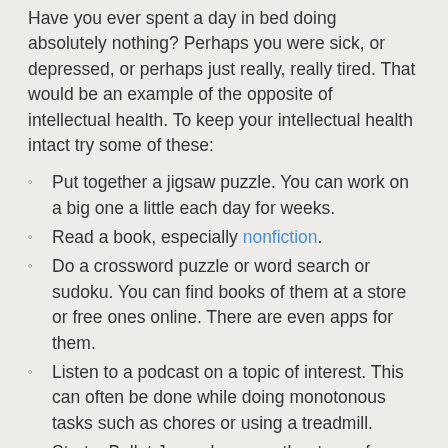Have you ever spent a day in bed doing absolutely nothing? Perhaps you were sick, or depressed, or perhaps just really, really tired. That would be an example of the opposite of intellectual health. To keep your intellectual health intact try some of these:
Put together a jigsaw puzzle. You can work on a big one a little each day for weeks.
Read a book, especially nonfiction.
Do a crossword puzzle or word search or sudoku. You can find books of them at a store or free ones online. There are even apps for them.
Listen to a podcast on a topic of interest. This can often be done while doing monotonous tasks such as chores or using a treadmill.
Start a Bullet Journal or any other type of